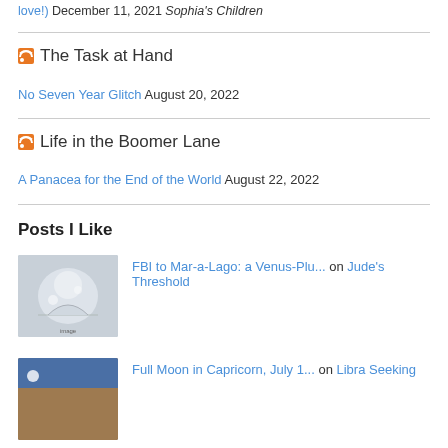love!) December 11, 2021 Sophia's Children
The Task at Hand
No Seven Year Glitch August 20, 2022
Life in the Boomer Lane
A Panacea for the End of the World August 22, 2022
Posts I Like
FBI to Mar-a-Lago: a Venus-Plu... on Jude's Threshold
Full Moon in Capricorn, July 1... on Libra Seeking